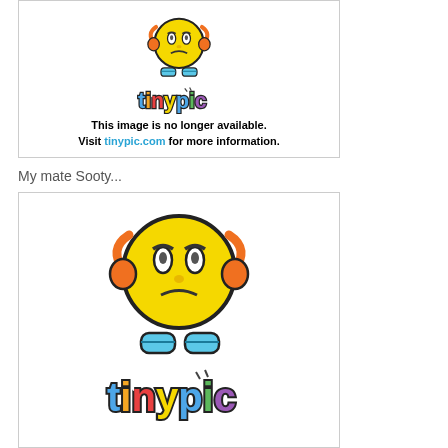[Figure (illustration): Tinypic 'image no longer available' placeholder showing a yellow sad-face emoji with orange headphones and blue feet, with the colorful tinypic logo and text: 'This image is no longer available. Visit tinypic.com for more information.']
My mate Sooty...
[Figure (illustration): Tinypic placeholder image showing a yellow sad-face emoji character with furrowed brows, orange curved arm/headphone shapes on sides, blue feet at the bottom, and the colorful 'tinypic' logo below it.]